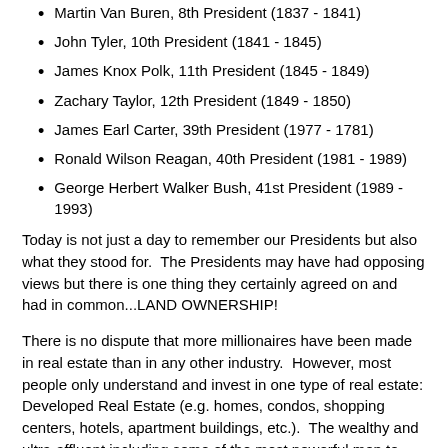Martin Van Buren, 8th President (1837 - 1841)
John Tyler, 10th President (1841 - 1845)
James Knox Polk, 11th President (1845 - 1849)
Zachary Taylor, 12th President (1849 - 1850)
James Earl Carter, 39th President (1977 - 1781)
Ronald Wilson Reagan, 40th President (1981 - 1989)
George Herbert Walker Bush, 41st President (1989 - 1993)
Today is not just a day to remember our Presidents but also what they stood for.  The Presidents may have had opposing views but there is one thing they certainly agreed on and had in common...LAND OWNERSHIP!
There is no dispute that more millionaires have been made in real estate than in any other industry.  However, most people only understand and invest in one type of real estate: Developed Real Estate (e.g. homes, condos, shopping centers, hotels, apartment buildings, etc.).  The wealthy and ultra-affluent including some of the most powerful men to ever live, U.S. Presidents, have invested in land.  In order to make greater returns with less risk, you have to do something the masses aren't doing, investing in land is just that!